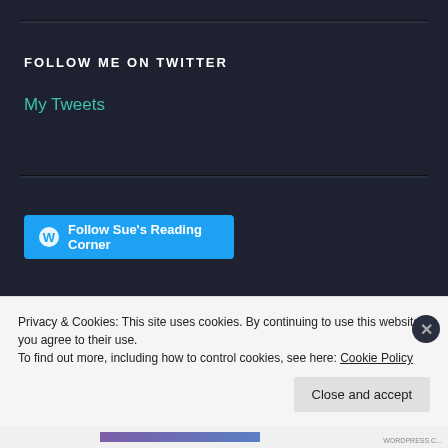FOLLOW ME ON TWITTER
My Tweets
[Figure (other): Follow Sue's Reading Corner button with WordPress icon in blue]
GOODREADS: CURRENTLY READING
Privacy & Cookies: This site uses cookies. By continuing to use this website, you agree to their use.
To find out more, including how to control cookies, see here: Cookie Policy
Close and accept